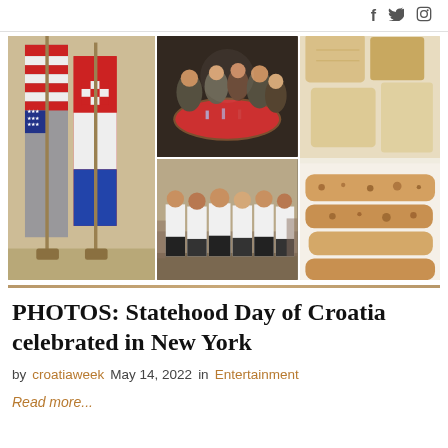f  🐦  📷
[Figure (photo): Collage of four photos showing Croatian Statehood Day celebration in New York: US and Croatian flags, dinner banquet scene, group photo of men in white shirts, and traditional Croatian food]
PHOTOS: Statehood Day of Croatia celebrated in New York
by croatiaweek   May 14, 2022   in   Entertainment
Read more...